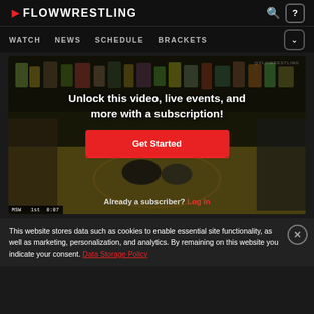FLOWRESTLING
WATCH
NEWS
SCHEDULE
BRACKETS
[Figure (screenshot): Wrestling match video thumbnail with crowd in background, overlaid with subscription prompt]
Unlock this video, live events, and more with a subscription!
Get Started
Already a subscriber? Log In
This website stores data such as cookies to enable essential site functionality, as well as marketing, personalization, and analytics. By remaining on this website you indicate your consent. Data Storage Policy